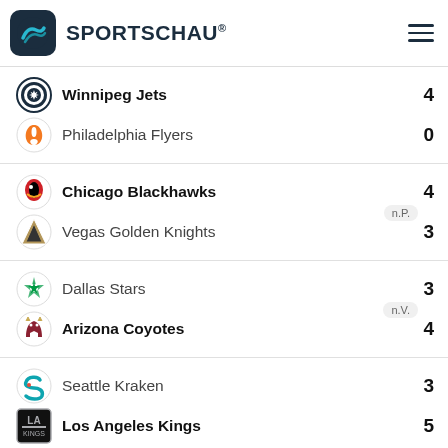SPORTSCHAU®
| Team | Extra | Score |
| --- | --- | --- |
| Winnipeg Jets |  | 4 |
| Philadelphia Flyers |  | 0 |
| Chicago Blackhawks | n.P. | 4 |
| Vegas Golden Knights |  | 3 |
| Dallas Stars | n.V. | 3 |
| Arizona Coyotes |  | 4 |
| Seattle Kraken |  | 3 |
| Los Angeles Kings |  | 5 |
29.04.2022
| Team | Extra | Score |
| --- | --- | --- |
| New York Islanders |  | 5 |